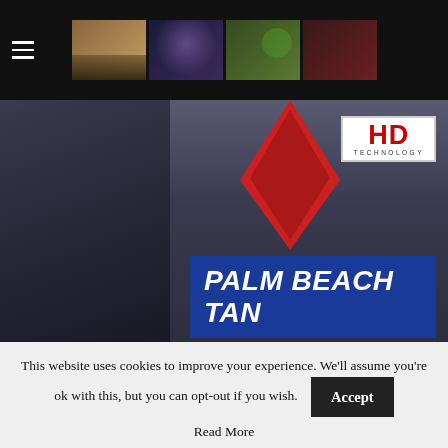Navigation bar with hamburger menu and thumbnail images
[Figure (photo): Palm Beach Tan storefront sign with HD Technology badge and blue sign reading PALM BEACH TAN, MON-FRI 7AM-10PM]
Yes. Apparently you can get a high definition tan. Or perhaps a "highest defenestration" tan, wherein your newly bronzed body is thrown from a window of the top floor of the building.
Jocularity aside, this got me thinking about a topic I've seen others address, that the idea of High Definition like...
This website uses cookies to improve your experience. We'll assume you're ok with this, but you can opt-out if you wish.
Accept
Read More